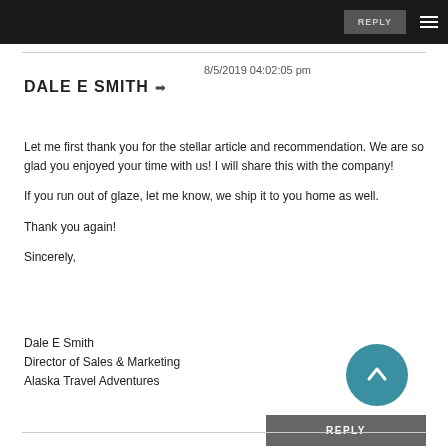REPLY ≡
8/5/2019 04:02:05 pm
DALE E SMITH →
Let me first thank you for the stellar article and recommendation. We are so glad you enjoyed your time with us! I will share this with the company!

If you run out of glaze, let me know, we ship it to you home as well.

Thank you again!

Sincerely,
Dale E Smith
Director of Sales & Marketing
Alaska Travel Adventures
[Figure (other): Teal circular button with upward chevron arrow icon]
REPLY